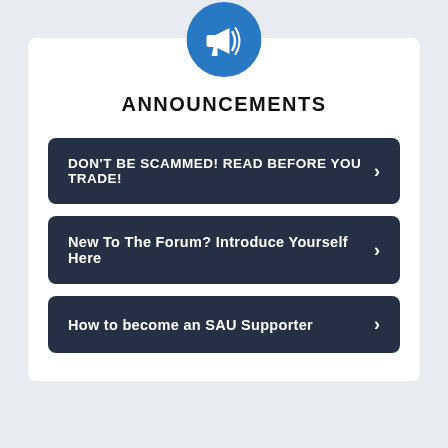[Figure (illustration): Blue circle with white megaphone/announcement horn icon]
ANNOUNCEMENTS
DON'T BE SCAMMED! READ BEFORE YOU TRADE!
New To The Forum? Introduce Yourself Here
How to become an SAU Supporter